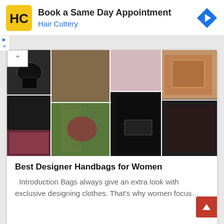[Figure (infographic): Hair Cuttery advertisement banner with yellow/black HC logo on left, text 'Book a Same Day Appointment / Hair Cuttery' in the center, and a blue diamond navigation arrow icon on the right]
[Figure (photo): Collage of multiple photos showing various designer handbags for women — black leather bags, Louis Vuitton monogram bag, tan/brown structured bags, a man in floral outfit, women holding handbags]
Best Designer Handbags for Women
Introduction Bags always give an extra look with exclusive designing clothes. That's why women focus…